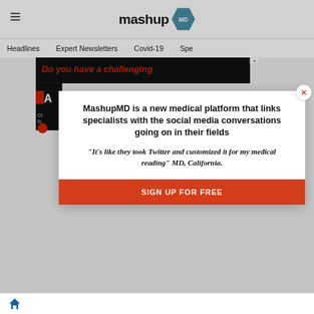mashup MD
Headlines   Expert Newsletters   Covid-19   Spe
[Figure (screenshot): Ad banner with text 'Do you have a challenging' on dark background]
MashupMD is a new medical platform that links specialists with the social media conversations going on in their fields
"It's like they took Twitter and customized it for my medical reading" MD, California.
SIGN UP FOR FREE